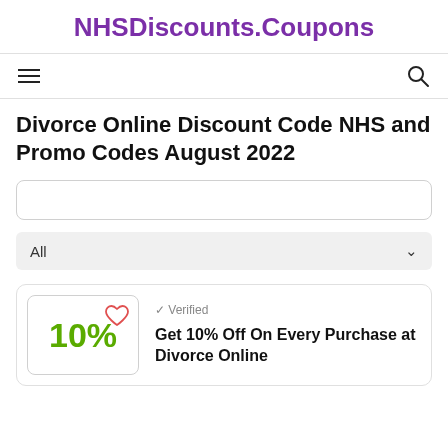NHSDiscounts.Coupons
Divorce Online Discount Code NHS and Promo Codes August 2022
All
✓ Verified
Get 10% Off On Every Purchase at Divorce Online